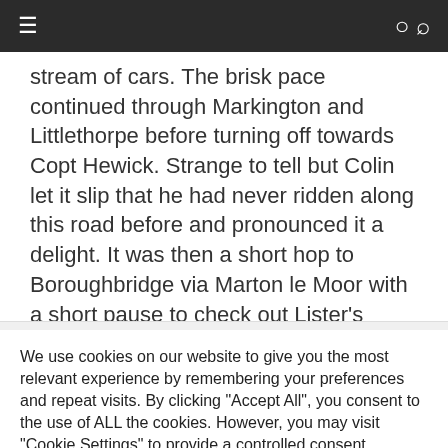≡  🔍
stream of cars. The brisk pace continued through Markington and Littlethorpe before turning off towards Copt Hewick. Strange to tell but Colin let it slip that he had never ridden along this road before and pronounced it a delight. It was then a short hop to Boroughbridge via Marton le Moor with a short pause to check out Lister's Farm Shop, which couldn't accommodate us, and a further longer pause whilst
We use cookies on our website to give you the most relevant experience by remembering your preferences and repeat visits. By clicking "Accept All", you consent to the use of ALL the cookies. However, you may visit "Cookie Settings" to provide a controlled consent.
Cookie Settings
Accept All